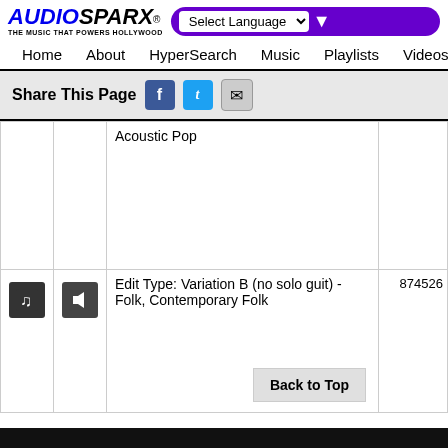[Figure (logo): AudioSparx logo with text THE MUSIC THAT POWERS HOLLYWOOD]
Select Language
Home   About   HyperSearch   Music   Playlists   Videos   Sound
Share This Page
|  |  | Content | ID |
| --- | --- | --- | --- |
|  |  | Acoustic Pop |  |
| [music icon] | [volume icon] | Edit Type: Variation B (no solo guit) - Folk, Contemporary Folk | 874526 |